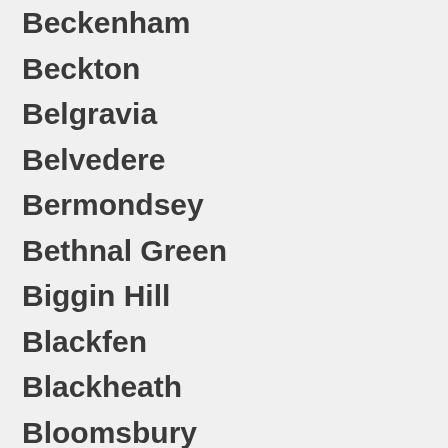Beckenham
Beckton
Belgravia
Belvedere
Bermondsey
Bethnal Green
Biggin Hill
Blackfen
Blackheath
Bloomsbury
Bounds Green
Bow
Brixton
Brockley